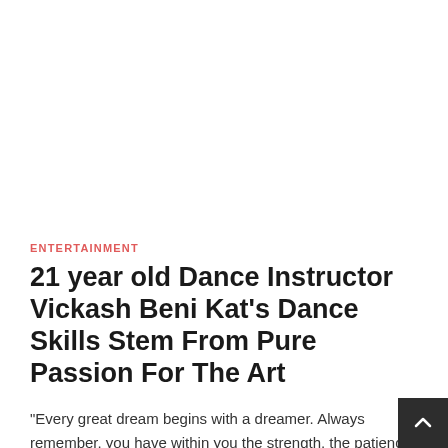ENTERTAINMENT
21 year old Dance Instructor Vickash Beni Kat's Dance Skills Stem From Pure Passion For The Art
“Every great dream begins with a dreamer. Always remember, you have within you the strength, the patience, and the passion
Share this: